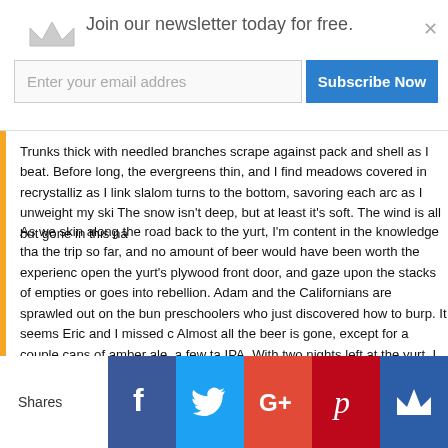Join our newsletter today for free.
Trunks thick with needled branches scrape against pack and shell as I beat. Before long, the evergreens thin, and I find meadows covered in recrystalliz as I link slalom turns to the bottom, savoring each arc as I unweight my ski The snow isn't deep, but at least it's soft. The wind is all but gone in this na
As we skin along the road back to the yurt, I'm content in the knowledge tha the trip so far, and no amount of beer would have been worth the experienc open the yurt's plywood front door, and gaze upon the stacks of empties or goes into rebellion. Adam and the Californians are sprawled out on the bun preschoolers who just discovered how to burp. It seems Eric and I missed c Almost all the beer is gone, except for a couple cans of amber ale, a few ta IPA. With two nights left at the yurt, I find it hard to comprehend how I will s
[Figure (photo): Landscape photo showing blue sky with thin clouds above a snowy or icy terrain horizon]
Shares